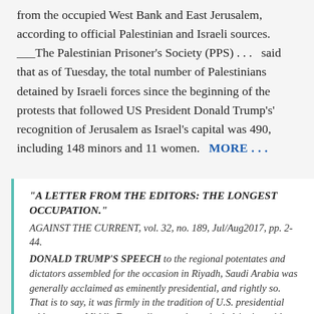from the occupied West Bank and East Jerusalem, according to official Palestinian and Israeli sources.
___The Palestinian Prisoner's Society (PPS) . . .   said that as of Tuesday, the total number of Palestinians detained by Israeli forces since the beginning of the protests that followed US President Donald Trump's' recognition of Jerusalem as Israel's capital was 490, including 148 minors and 11 women.  MORE . . .
"A LETTER FROM THE EDITORS: THE LONGEST OCCUPATION."
AGAINST THE CURRENT, vol. 32, no. 189, Jul/Aug2017, pp. 2-44.
DONALD TRUMP'S SPEECH to the regional potentates and dictators assembled for the occasion in Riyadh, Saudi Arabia was generally acclaimed as eminently presidential, and rightly so. That is to say, it was firmly in the tradition of U.S. presidential addresses on Middle East policy, utterly cynical, dripping with deceit, and above